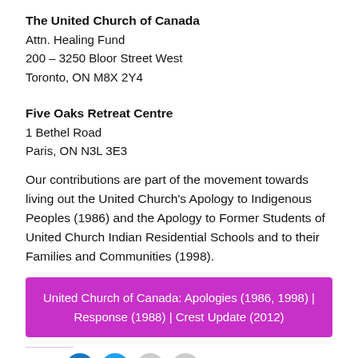The United Church of Canada
Attn. Healing Fund
200 – 3250 Bloor Street West
Toronto, ON M8X 2Y4
Five Oaks Retreat Centre
1 Bethel Road
Paris, ON N3L 3E3
Our contributions are part of the movement towards living out the United Church's Apology to Indigenous Peoples (1986) and the Apology to Former Students of United Church Indian Residential Schools and to their Families and Communities (1998).
United Church of Canada: Apologies (1986, 1998) | Response (1988) | Crest Update (2012)
Share: